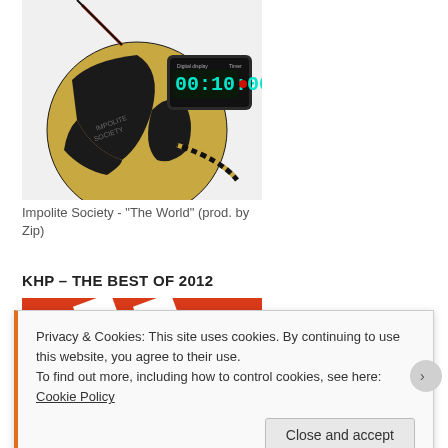[Figure (illustration): A globe styled as a bomb with a digital timer showing 00:10:00, wrapped in yellow-black striped wire, on white background. Timer display labeled 'Digital display' and 'Timer'.]
Impolite Society - "The World" (prod. by Zip)
KHP – THE BEST OF 2012
[Figure (illustration): Partial view of a red and white graphic, partially obscured by cookie banner.]
Privacy & Cookies: This site uses cookies. By continuing to use this website, you agree to their use.
To find out more, including how to control cookies, see here: Cookie Policy
Close and accept